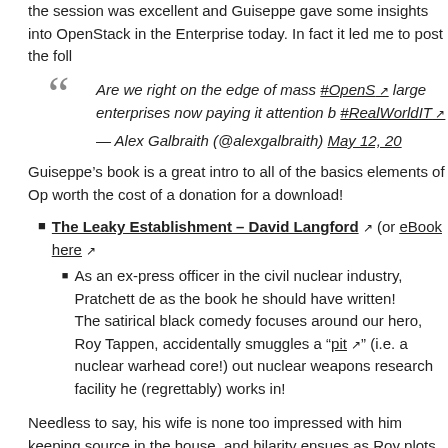the session was excellent and Guiseppe gave some insights into OpenStack in the Enterprise today. In fact it led me to post the foll
“ Are we right on the edge of mass #OpenS large enterprises now paying it attention b #RealWorldIT ↗
— Alex Galbraith (@alexgalbraith) May 12, 20
Guiseppe’s book is a great intro to all of the basics elements of Op worth the cost of a donation for a download!
The Leaky Establishment – David Langford ↗ (or eBook here ↗
As an ex-press officer in the civil nuclear industry, Pratchett de as the book he should have written! The satirical black comedy focuses around our hero, Roy Tappen, accidentally smuggles a “pit ↗” (i.e. a nuclear warhead core!) out nuclear weapons research facility he (regrettably) works in!
Needless to say, his wife is none too impressed with him keeping source in the house, and hilarity ensues as Roy plots to smuggle i
Parts of this book had me in stitches; well worth a read!